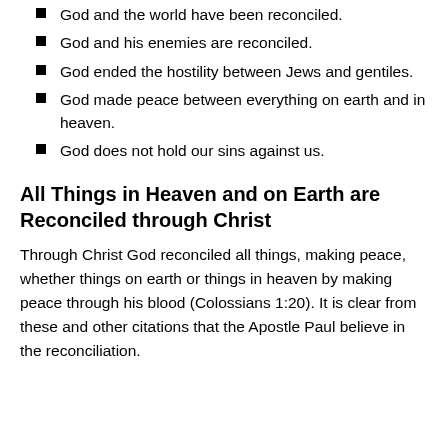God and the world have been reconciled.
God and his enemies are reconciled.
God ended the hostility between Jews and gentiles.
God made peace between everything on earth and in heaven.
God does not hold our sins against us.
All Things in Heaven and on Earth are Reconciled through Christ
Through Christ God reconciled all things, making peace, whether things on earth or things in heaven by making peace through his blood (Colossians 1:20). It is clear from these and other citations that the Apostle Paul believe in the reconciliation.